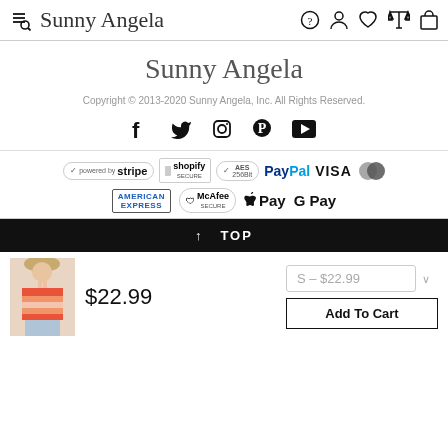Sunny Angela — navigation header with search, help, account, wishlist, compare, cart icons
Sunny Angela
Copyright © 2013-2020 Sunny Angela, Inc. All Rights Reserved.
[Figure (infographic): Social media icons: Facebook, Twitter, Instagram, Pinterest, YouTube]
[Figure (infographic): Payment badges: stripe, shopify secure, AES 256Bit, PayPal, VISA, Mastercard, American Express, McAfee Secure, Apple Pay, G Pay]
↑ TOP
[Figure (photo): Product thumbnail: woman wearing orange striped halter crop top]
$22.99
S – $22.99
Add To Cart